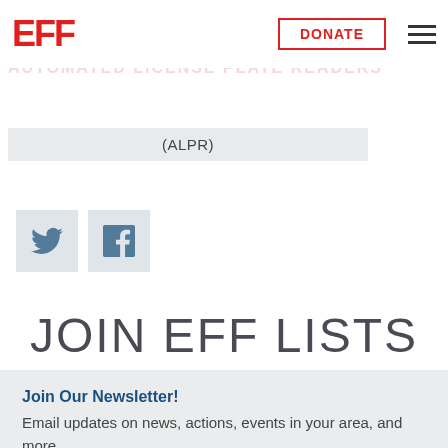[Figure (logo): EFF (Electronic Frontier Foundation) logo in red, with DONATE button outlined in red and hamburger menu icon]
RELATED CASES:
AUTOMATED LICENSE PLATE READERS
(ALPR)
[Figure (other): Twitter bird icon in a grey square box]
[Figure (other): Facebook f icon in a grey square box]
JOIN EFF LISTS
Join Our Newsletter!
Email updates on news, actions, events in your area, and more.